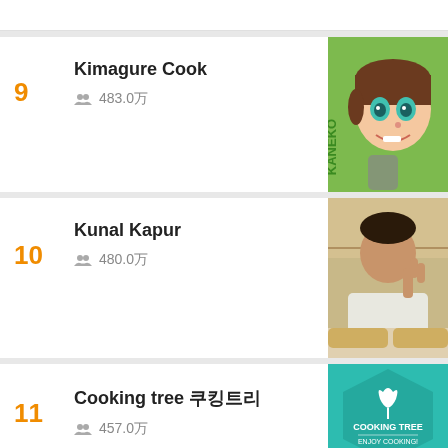[Figure (screenshot): Partial top card clipped at top of page]
9
Kimagure Cook
483.0万
[Figure (illustration): Anime cartoon boy character with brown hair, green eyes, holding a can, green background with KANEKO text]
10
Kunal Kapur
480.0万
[Figure (photo): Indian man in white shirt making peace sign, sitting at table with drinks]
11
Cooking tree 쿠킹트리
457.0万
[Figure (logo): Teal hexagon logo with leaf icon and text COOKING TREE ENJOY COOKING!]